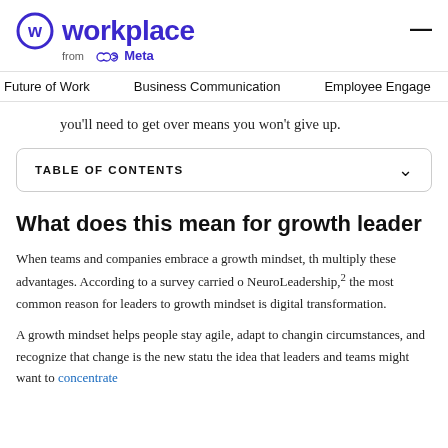Workplace from Meta
Future of Work   Business Communication   Employee Engage
you'll need to get over means you won't give up.
TABLE OF CONTENTS
What does this mean for growth leader
When teams and companies embrace a growth mindset, th multiply these advantages. According to a survey carried o NeuroLeadership,2 the most common reason for leaders to growth mindset is digital transformation.
A growth mindset helps people stay agile, adapt to changin circumstances, and recognize that change is the new statu the idea that leaders and teams might want to concentrate